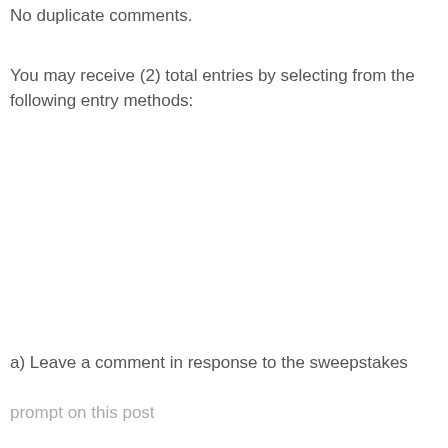No duplicate comments.
You may receive (2) total entries by selecting from the following entry methods:
a) Leave a comment in response to the sweepstakes prompt on this post
b) Tweet (public message) about this promotion including